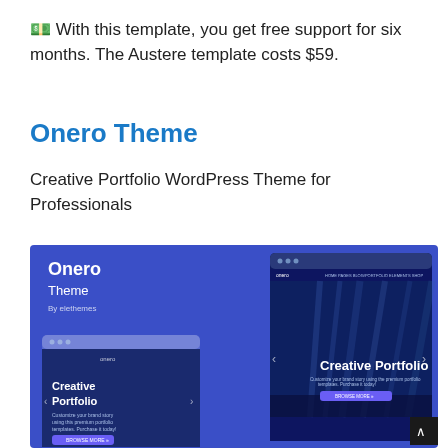💵 With this template, you get free support for six months. The Austere template costs $59.
Onero Theme
Creative Portfolio WordPress Theme for Professionals
[Figure (screenshot): Screenshot of the Onero Theme WordPress template showing a creative portfolio layout with dark blue background featuring an architectural interior. Left side shows mobile view with 'Creative Portfolio' text in white bold. Right/main panel shows desktop view with 'Creative Portfolio' heading, navigation bar, and purple CTA button. A small scroll-to-top button appears at bottom right.]